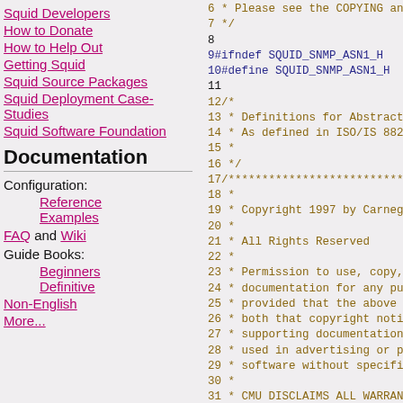Squid Developers
How to Donate
How to Help Out
Getting Squid
Squid Source Packages
Squid Deployment Case-Studies
Squid Software Foundation
Documentation
Configuration:
Reference
Examples
FAQ and Wiki
Guide Books:
Beginners
Definitive
Non-English
More...
6 * Please see the COPYING and CO
7 */
8
9#ifndef SQUID_SNMP_ASN1_H
10#define SQUID_SNMP_ASN1_H
11
12/*
13 * Definitions for Abstract Syntax N
14 * As defined in ISO/IS 8824 and IS
15 *
16 */
17/***********************************
18 *
19 * Copyright 1997 by Carnegie Mel
20 *
21 * All Rights Reserved
22 *
23 * Permission to use, copy, modify,
24 * documentation for any purpose a
25 * provided that the above copyrigh
26 * both that copyright notice and th
27 * supporting documentation, and t
28 * used in advertising or publicity p
29 * software without specific, written
30 *
31 * CMU DISCLAIMS ALL WARRAN
32 * ALL IMPLIED WARRANTIES OF
33 * CMU BE LIABLE FOR ANY SPE
34 * ANY DAMAGES WHATSOEVER
35 * WHETHER IN AN ACTION OF C
36 * ARISING OUT OF OR IN CONN
37 * SOFTWARE.
38 *
39 ***********************************
40
41#ifndef EIGHTBIT_SUBIDS
42typedef u_int oid;